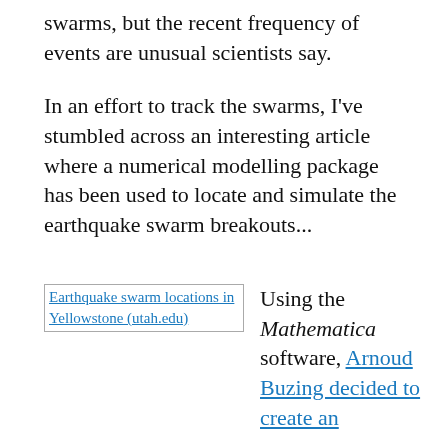swarms, but the recent frequency of events are unusual scientists say.
In an effort to track the swarms, I've stumbled across an interesting article where a numerical modelling package has been used to locate and simulate the earthquake swarm breakouts...
[Figure (other): Broken image placeholder with link text: Earthquake swarm locations in Yellowstone (utah.edu)]
Using the Mathematica software, Arnoud Buzing decided to create an